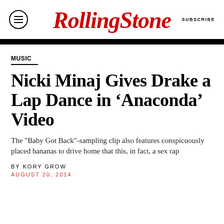Rolling Stone | SUBSCRIBE
MUSIC
Nicki Minaj Gives Drake a Lap Dance in ‘Anaconda’ Video
The "Baby Got Back"-sampling clip also features conspicuously placed bananas to drive home that this, in fact, a sex rap
BY KORY GROW
AUGUST 20, 2014